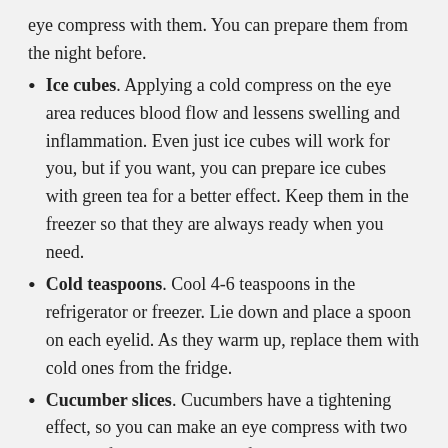eye compress with them. You can prepare them from the night before.
Ice cubes. Applying a cold compress on the eye area reduces blood flow and lessens swelling and inflammation. Even just ice cubes will work for you, but if you want, you can prepare ice cubes with green tea for a better effect. Keep them in the freezer so that they are always ready when you need.
Cold teaspoons. Cool 4-6 teaspoons in the refrigerator or freezer. Lie down and place a spoon on each eyelid. As they warm up, replace them with cold ones from the fridge.
Cucumber slices. Cucumbers have a tightening effect, so you can make an eye compress with two circles of chilled cucumber for ten minutes.
Skincare products against puffiness. Some cosmetic products can help you to reduce the swelling and...